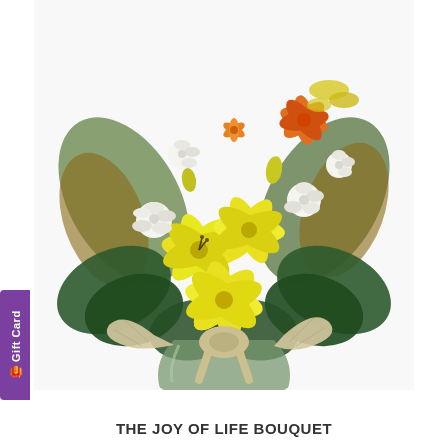[Figure (photo): A floral arrangement featuring yellow lilies, white roses, orange alstroemeria, and green fern foliage in a glass vase decorated with a burlap bow. The bouquet is photographed against a white background.]
THE JOY OF LIFE BOUQUET